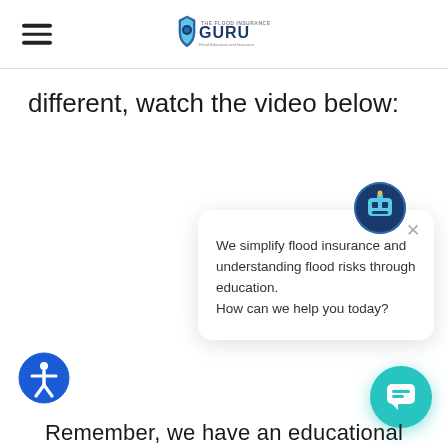The Flood Insurance Guru
different, watch the video below:
[Figure (screenshot): Chat widget popup with avatar icon showing 'We simplify flood insurance and understanding flood risks through education. How can we help you today?' with a close (X) button]
Remember, we have an educational